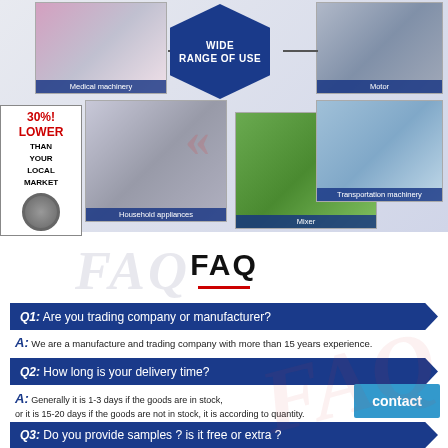[Figure (infographic): Wide range of use infographic showing hexagonal center with arrows pointing to 5 product photos: Medical machinery, Motor, Household appliances, Mixer, Transportation machinery. Left side has red/black banner reading 30% LOWER THAN YOUR LOCAL MARKET.]
FAQ
Q1: Are you trading company or manufacturer?
A: We are a manufacture and trading company with more than 15 years experience.
Q2: How long is your delivery time?
A: Generally it is 1-3 days if the goods are in stock, or it is 15-20 days if the goods are not in stock, it is according to quantity.
Q3: Do you provide samples ? is it free or extra ?